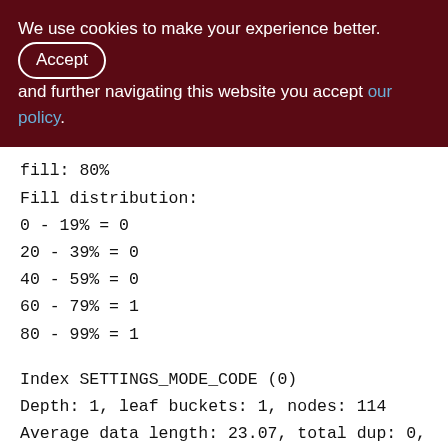We use cookies to make your experience better. By accepting and further navigating this website you accept our policy.
fill: 80%
Fill distribution:
0 - 19% = 0
20 - 39% = 0
40 - 59% = 0
60 - 79% = 1
80 - 99% = 1
Index SETTINGS_MODE_CODE (0)
Depth: 1, leaf buckets: 1, nodes: 114
Average data length: 23.07, total dup: 0, max dup: 0
Fill distribution: